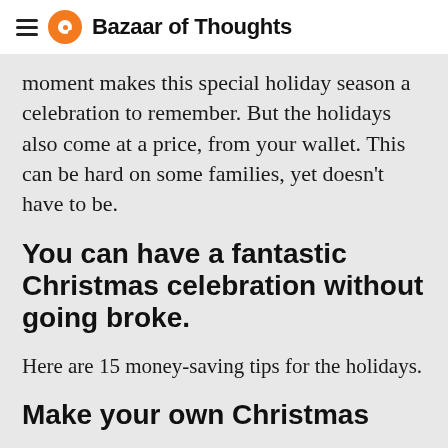Bazaar of Thoughts
moment makes this special holiday season a celebration to remember. But the holidays also come at a price, from your wallet. This can be hard on some families, yet doesn't have to be.
You can have a fantastic Christmas celebration without going broke.
Here are 15 money-saving tips for the holidays.
Make your own Christmas